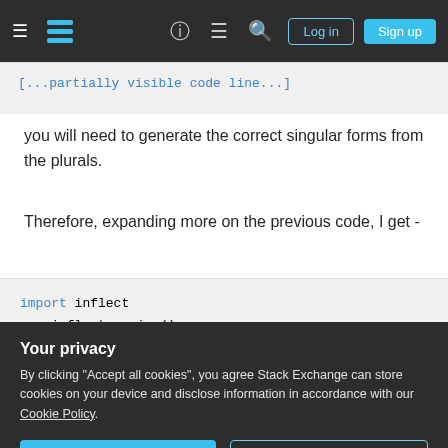Stack Exchange navigation bar with Log in and Sign up buttons
you will need to generate the correct singular forms from the plurals.
Therefore, expanding more on the previous code, I get -
import inflect
p = inflect.engine()

stuff = {'ropes': 1, 'torches': 1, 'gold co

key = p.singular_noun(key)
Your privacy
By clicking "Accept all cookies", you agree Stack Exchange can store cookies on your device and disclose information in accordance with our Cookie Policy.
Accept all cookies   Customize settings